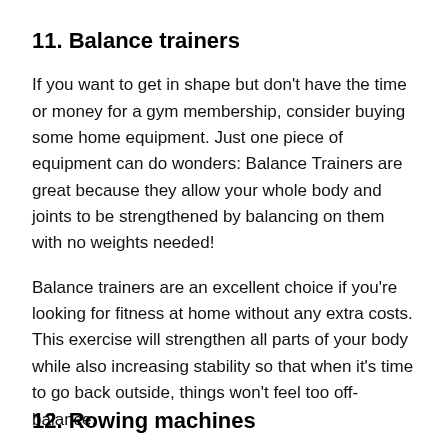11. Balance trainers
If you want to get in shape but don't have the time or money for a gym membership, consider buying some home equipment. Just one piece of equipment can do wonders: Balance Trainers are great because they allow your whole body and joints to be strengthened by balancing on them with no weights needed!
Balance trainers are an excellent choice if you're looking for fitness at home without any extra costs. This exercise will strengthen all parts of your body while also increasing stability so that when it's time to go back outside, things won't feel too off-balance.
12. Rowing machines